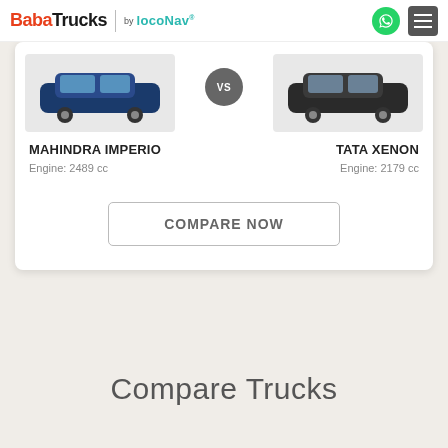BabaTrucks by LocoNav
[Figure (screenshot): Comparison card showing Mahindra Imperio vs Tata Xenon with VS badge in center]
MAHINDRA IMPERIO
TATA XENON
Engine: 2489 cc
Engine: 2179 cc
COMPARE NOW
Compare Trucks